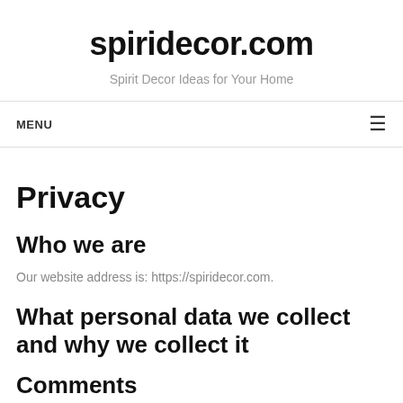spiridecor.com
Spirit Decor Ideas for Your Home
MENU
Privacy
Who we are
Our website address is: https://spiridecor.com.
What personal data we collect and why we collect it
Comments